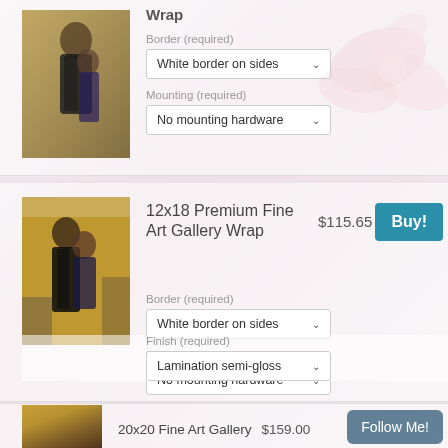[Figure (screenshot): E-commerce product listing page showing art gallery wrap prints with dancing couple photos, dropdown options for border and mounting, prices and buy buttons]
Wrap
Border (required)
White border on sides
Mounting (required)
No mounting hardware
12x18 Premium Fine Art Gallery Wrap
$115.65
Buy!
Border (required)
White border on sides
Mounting (required)
No mounting hardware
Finish (required)
Lamination semi-gloss
20x20 Fine Art Gallery
$159.00
Follow Me!